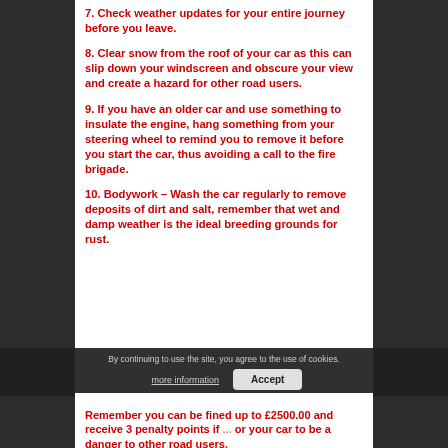7. Check weather updates for your entire journey before you leave.
8. Clear snow from the roof of your car as this can slip down your windscreen and obscure your view and create a hazard for other road users.
9. If you have an older car and use something to insulate the engine, hang something from your steering wheel to remind you to remove it before you start the car, thus avoiding a call to the fire brigade.
10. Bodywork – Wash the car regularly to remove deposits of dirt and salt, remember that wet and damp weather is the ideal breeding grounds for rust.
Remember you can be fined up to £2500.00 and receive 3 penalty points if ... or your car to be a danger to other road users.
Q2. How do I get my provisional driving licence?
By continuing to use the site, you agree to the use of cookies.